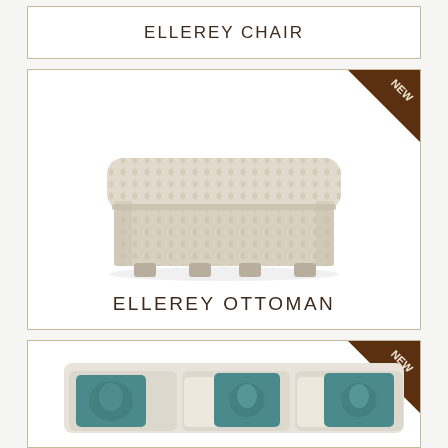ELLEREY CHAIR
[Figure (photo): Ellerey Ottoman - a square upholstered ottoman with patterned cream/beige fabric and small wooden feet, with a NEW corner badge]
ELLEREY OTTOMAN
[Figure (photo): Partial view of a sofa with cream upholstery and teal/blue decorative pillows with bird embroidery, with a NEW corner badge]